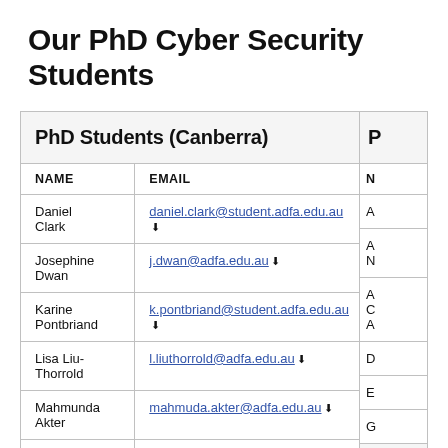Our PhD Cyber Security Students
| NAME | EMAIL |
| --- | --- |
| Daniel Clark | daniel.clark@student.adfa.edu.au |
| Josephine Dwan | j.dwan@adfa.edu.au |
| Karine Pontbriand | k.pontbriand@student.adfa.edu.au |
| Lisa Liu-Thorrold | l.liuthorrold@adfa.edu.au |
| Mahmunda Akter | mahmuda.akter@adfa.edu.au |